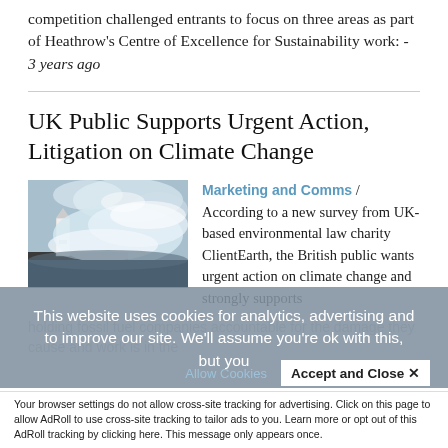competition challenged entrants to focus on three areas as part of Heathrow's Centre of Excellence for Sustainability work: - 3 years ago
UK Public Supports Urgent Action, Litigation on Climate Change
[Figure (photo): Lighthouse with large crashing waves against a stormy sky]
Marketing and Comms / According to a new survey from UK-based environmental law charity ClientEarth, the British public wants urgent action on climate change and strongly supports...
This website uses cookies for analytics, advertising and to improve our site. We'll assume you're ok with this, but you
Allow Cookies    Accept and Close ✕
Your browser settings do not allow cross-site tracking for advertising. Click on this page to allow AdRoll to use cross-site tracking to tailor ads to you. Learn more or opt out of this AdRoll tracking by clicking here. This message only appears once.